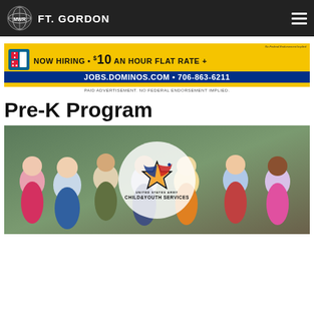MWR FT. GORDON
[Figure (infographic): Domino's Pizza Now Hiring advertisement banner: NOW HIRING • $10 AN HOUR FLAT RATE + JOBS.DOMINOS.COM • 706-863-6211]
PAID ADVERTISEMENT. NO FEDERAL ENDORSEMENT IMPLIED.
Pre-K Program
[Figure (photo): Group of diverse smiling children posed together outdoors, with United States Army Child & Youth Services logo overlaid in a white circle in the center of the image.]